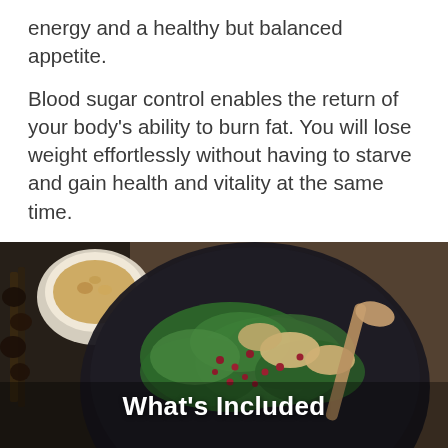energy and a healthy but balanced appetite.
Blood sugar control enables the return of your body's ability to burn fat. You will lose weight effortlessly without having to starve and gain health and vitality at the same time.
I will take you step-by-step through this 14 day detox that will make a huge difference in how you feel and look – fast!
[Figure (photo): Overhead photo of a dark bowl filled with green salad leaves, chicken pieces, pomegranate seeds, with a wooden spoon, and a small white bowl with grains in the upper left, and dark food items on skewers to the left side.]
What's Included